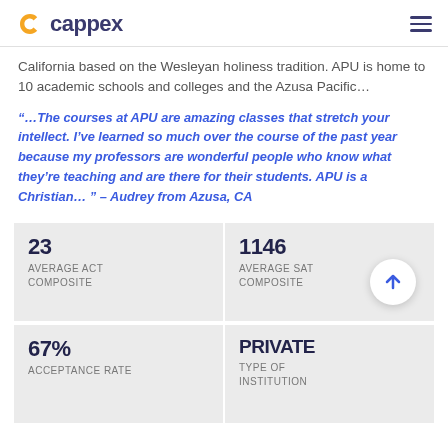cappex
California based on the Wesleyan holiness tradition. APU is home to 10 academic schools and colleges and the Azusa Pacific…
“…The courses at APU are amazing classes that stretch your intellect. I’ve learned so much over the course of the past year because my professors are wonderful people who know what they’re teaching and are there for their students. APU is a Christian… ” – Audrey from Azusa, CA
| Stat | Value | Label |
| --- | --- | --- |
| 23 | AVERAGE ACT COMPOSITE |
| 1146 | AVERAGE SAT COMPOSITE |
| 67% | ACCEPTANCE RATE |
| PRIVATE | TYPE OF INSTITUTION |